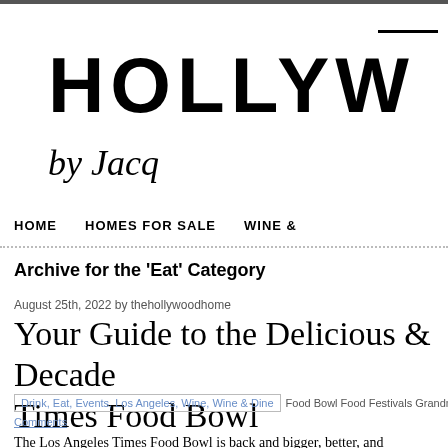HOLLYW
by Jacq
HOME   HOMES FOR SALE   WINE &
Archive for the 'Eat' Category
August 25th, 2022 by thehollywoodhome
Your Guide to the Delicious & Decade Times Food Bowl
Drink, Eat, Events, Los Angeles, Wine, Wine & Dine | Food Bowl Food Festivals Grandmaster Records La
Comments
The Los Angeles Times Food Bowl is back and bigger, better, and monthlong festival celebrates our great city's top culinary talent at